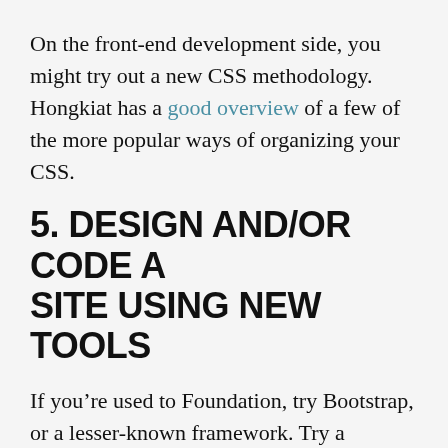On the front-end development side, you might try out a new CSS methodology. Hongkiat has a good overview of a few of the more popular ways of organizing your CSS.
5. DESIGN AND/OR CODE A SITE USING NEW TOOLS
If you're used to Foundation, try Bootstrap, or a lesser-known framework. Try a different pre-processor. Try a different CMS. Try a different file manager or text editor. If you're a programmer and/or like pain, drop your favourite JS framework and try another